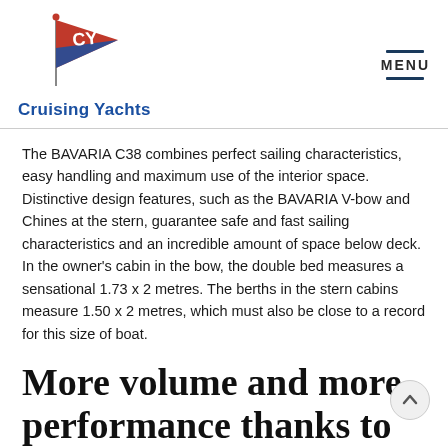Cruising Yachts
The BAVARIA C38 combines perfect sailing characteristics, easy handling and maximum use of the interior space. Distinctive design features, such as the BAVARIA V-bow and Chines at the stern, guarantee safe and fast sailing characteristics and an incredible amount of space below deck. In the owner's cabin in the bow, the double bed measures a sensational 1.73 x 2 metres. The berths in the stern cabins measure 1.50 x 2 metres, which must also be close to a record for this size of boat.
More volume and more performance thanks to